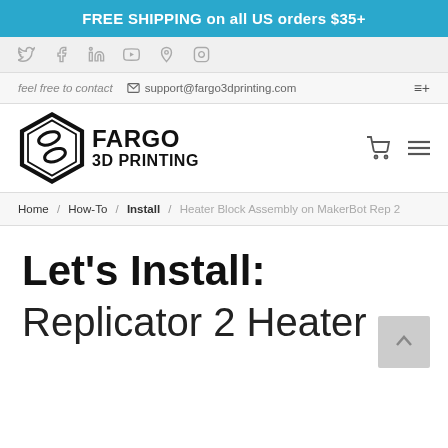FREE SHIPPING on all US orders $35+
[Figure (infographic): Social media icons bar: Twitter, Facebook, LinkedIn, YouTube, Pinterest, Instagram]
feel free to contact   support@fargo3dprinting.com   ≡+
[Figure (logo): Fargo 3D Printing hexagon logo with text FARGO 3D PRINTING]
Home / How-To / Install / Heater Block Assembly on MakerBot Rep 2
Let's Install:
Replicator 2 Heater